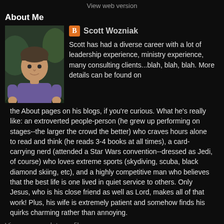View web version
About Me
[Figure (photo): Profile photo of Scott Wozniak, a man in a purple shirt outdoors]
Scott Wozniak
Scott has had a diverse career with a lot of leadership experience, ministry experience, many consulting clients...blah, blah, blah. More details can be found on the About pages on his blogs, if you're curious. What he's really like: an extroverted people-person (he grew up performing on stages--the larger the crowd the better) who craves hours alone to read and think (he reads 3-4 books at all times), a card-carrying nerd (attended a Star Wars convention--dressed as Jedi, of course) who loves extreme sports (skydiving, scuba, black diamond skiing, etc), and a highly competitive man who believes that the best life is one lived in quiet service to others. Only Jesus, who is his close friend as well as Lord, makes all of that work! Plus, his wife is extremely patient and somehow finds his quirks charming rather than annoying.
View my complete profile
Powered by Blogger.